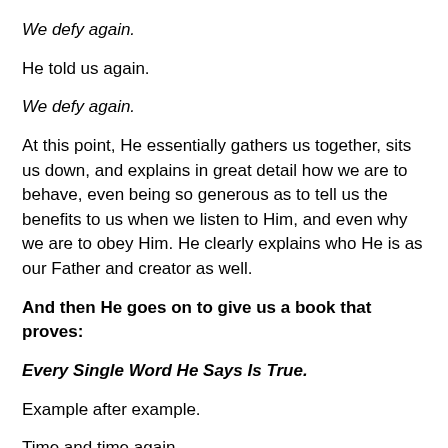We defy again.
He told us again.
We defy again.
At this point, He essentially gathers us together, sits us down, and explains in great detail how we are to behave, even being so generous as to tell us the benefits to us when we listen to Him, and even why we are to obey Him. He clearly explains who He is as our Father and creator as well.
And then He goes on to give us a book that proves:
Every Single Word He Says Is True.
Example after example.
Time and time again.
Over and over. He does not change.